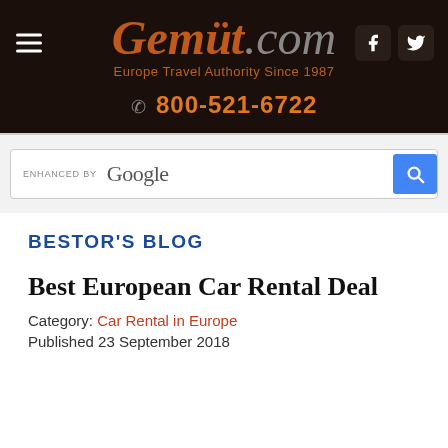Gemüt.com — Europe Travel Authority Since 1987 — 800-521-6722
[Figure (screenshot): Google search bar with 'ENHANCED BY Google' label and blue search button]
BESTOR'S BLOG
Best European Car Rental Deal
Category: Car Rental in Europe
Published 23 September 2018